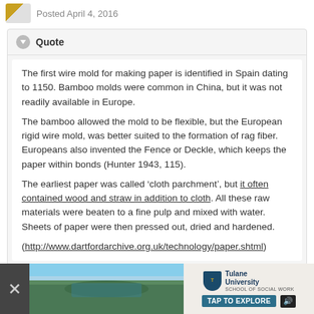Posted April 4, 2016
Quote
The first wire mold for making paper is identified in Spain dating to 1150. Bamboo molds were common in China, but it was not readily available in Europe.
The bamboo allowed the mold to be flexible, but the European rigid wire mold, was better suited to the formation of rag fiber. Europeans also invented the Fence or Deckle, which keeps the paper within bonds (Hunter 1943, 115).
The earliest paper was called ‘cloth parchment’, but it often contained wood and straw in addition to cloth. All these raw materials were beaten to a fine pulp and mixed with water. Sheets of paper were then pressed out, dried and hardened.
(http://www.dartfordarchive.org.uk/technology/paper.shtml)
[Figure (screenshot): Advertisement banner at bottom showing Tulane University School of Social Work with a landscape image and TAP TO EXPLORE button]